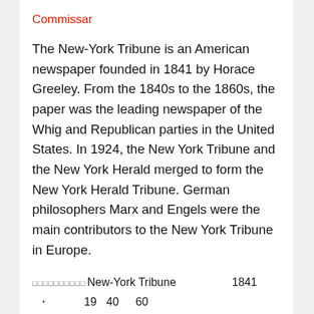Commissar
The New-York Tribune is an American newspaper founded in 1841 by Horace Greeley. From the 1840s to the 1860s, the paper was the leading newspaper of the Whig and Republican parties in the United States. In 1924, the New York Tribune and the New York Herald merged to form the New York Herald Tribune. German philosophers Marx and Engels were the main contributors to the New York Tribune in Europe.
□□□□□□□□□□New-York Tribune　　　　　1841
・　　　　　19　40　60
　　1924